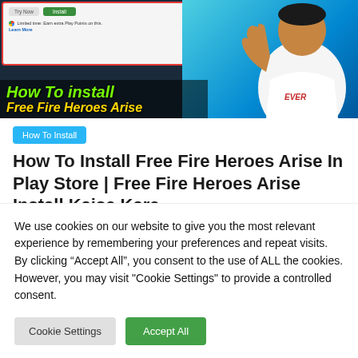[Figure (screenshot): Banner image showing a Google Play Store app install UI overlaid with 'How To install Free Fire Heroes Arise' text in green and yellow italic, and a person giving thumbs up on the right side]
How To Install
How To Install Free Fire Heroes Arise In Play Store | Free Fire Heroes Arise Install Kaise Kare
May 22, 2022  admin  Arise, fire, free, Heroes, how to fix
We use cookies on our website to give you the most relevant experience by remembering your preferences and repeat visits. By clicking "Accept All", you consent to the use of ALL the cookies. However, you may visit "Cookie Settings" to provide a controlled consent.
Cookie Settings  Accept All